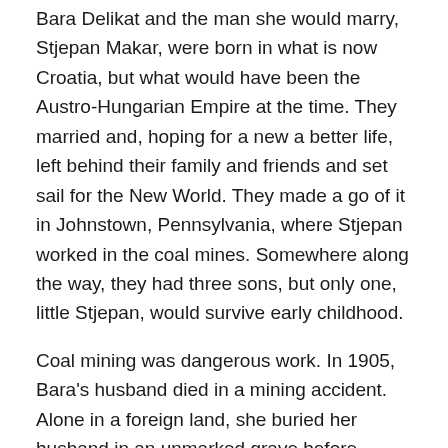Bara Delikat and the man she would marry, Stjepan Makar, were born in what is now Croatia, but what would have been the Austro-Hungarian Empire at the time. They married and, hoping for a new a better life, left behind their family and friends and set sail for the New World. They made a go of it in Johnstown, Pennsylvania, where Stjepan worked in the coal mines. Somewhere along the way, they had three sons, but only one, little Stjepan, would survive early childhood.
Coal mining was dangerous work. In 1905, Bara's husband died in a mining accident. Alone in a foreign land, she buried her husband in an unmarked grave before returning to the Old County with her son.
Ana, maternal great-grandmother, 1904-1970
Ana Blažević married the now-grown up Stjepan Makar at